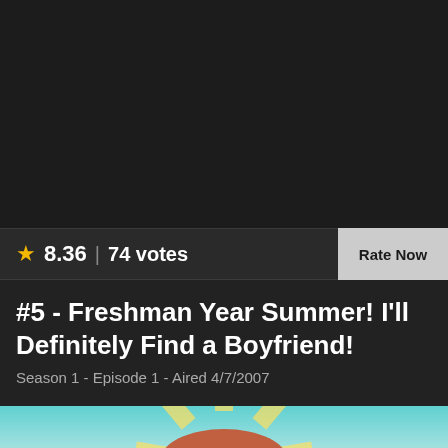[Figure (screenshot): Dark background top section of a TV episode listing page]
★ 8.36 | 74 votes
Rate Now
#5 - Freshman Year Summer! I'll Definitely Find a Boyfriend!
Season 1 - Episode 1 - Aired 4/7/2007
[Figure (screenshot): Bottom portion showing anime character illustration with colorful background]